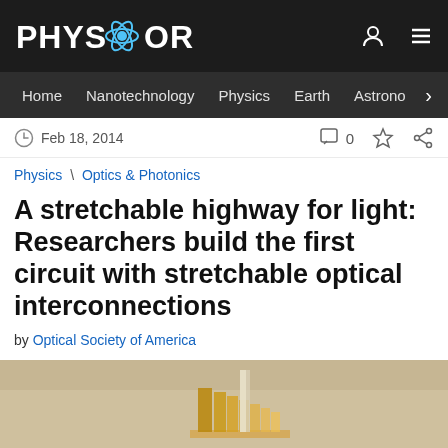PHYS.ORG
Home | Nanotechnology | Physics | Earth | Astronomy
Feb 18, 2014
Physics \ Optics & Photonics
A stretchable highway for light: Researchers build the first circuit with stretchable optical interconnections
by Optical Society of America
[Figure (photo): Photo of stretchable optical interconnect hardware on a light-colored background showing ridged flexible waveguide structures]